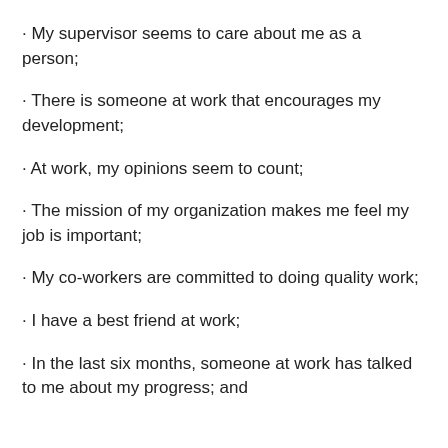My supervisor seems to care about me as a person;
There is someone at work that encourages my development;
At work, my opinions seem to count;
The mission of my organization makes me feel my job is important;
My co-workers are committed to doing quality work;
I have a best friend at work;
In the last six months, someone at work has talked to me about my progress; and